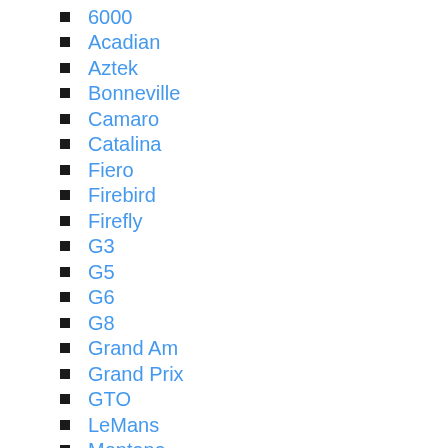6000
Acadian
Aztek
Bonneville
Camaro
Catalina
Fiero
Firebird
Firefly
G3
G5
G6
G8
Grand Am
Grand Prix
GTO
LeMans
Montana
Parisienne